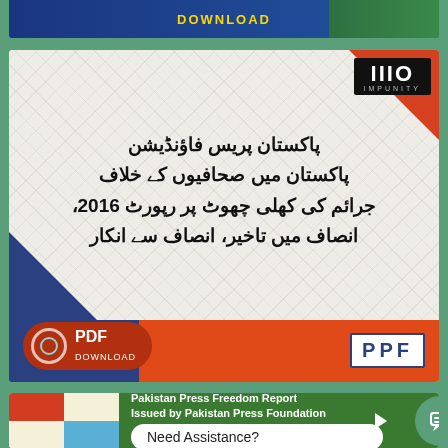[Figure (screenshot): Top partial banner with DOWNLOAD button on dark blue background with green stripe on right side]
[Figure (illustration): Middle card with No Impunity logo top-right, Urdu text in center reading Pakistan Press Foundation report about crimes against journalists 2016, PDF Download button bottom-left, PPF logo bottom-right, decorative geometric shapes]
[Figure (screenshot): Bottom card with colorful grid on left and green panel on right with Pakistan Press Freedom Report text and Need Assistance? chat bubble with chat icon]